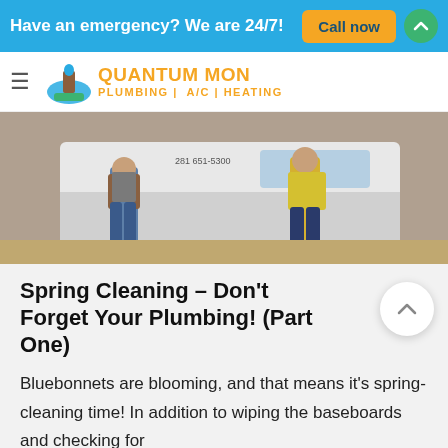Have an emergency? We are 24/7!  Call now
[Figure (logo): Company logo with plumber icon and text: PLUMBING | A/C | HEATING]
[Figure (photo): Two workers in work clothes standing in front of a white van outdoors]
Spring Cleaning – Don't Forget Your Plumbing! (Part One)
Bluebonnets are blooming, and that means it's spring-cleaning time! In addition to wiping the baseboards and checking for